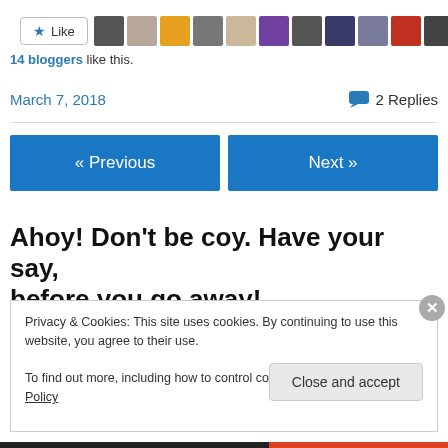[Figure (screenshot): Like button with star icon and row of blogger avatar thumbnails]
14 bloggers like this.
March 7, 2018    💬 2 Replies
« Previous    Next »
Ahoy! Don't be coy. Have your say, before you go away!
Privacy & Cookies: This site uses cookies. By continuing to use this website, you agree to their use.
To find out more, including how to control cookies, see here: Cookie Policy
Close and accept